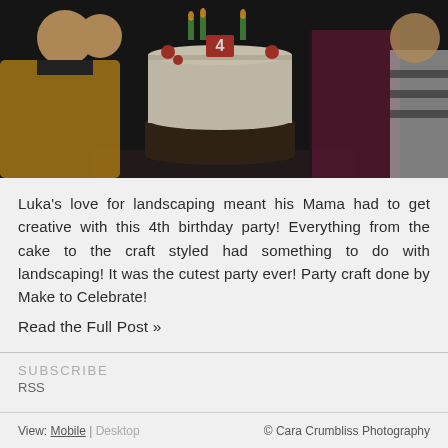[Figure (photo): Birthday party scene with children around a white frosted cake with a number 4 candle and green candles on top. A toddler in a yellow outfit is visible on the left, and children/adults in plaid and striped clothing surround the cake on a dark table.]
Luka's love for landscaping meant his Mama had to get creative with this 4th birthday party! Everything from the cake to the craft styled had something to do with landscaping! It was the cutest party ever! Party craft done by Make to Celebrate!
Read the Full Post »
SUBSCRIBE
RSS
View: Mobile | Desktop © Cara Crumbliss Photography